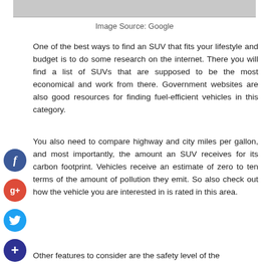[Figure (photo): Partial photo strip visible at top of page]
Image Source: Google
One of the best ways to find an SUV that fits your lifestyle and budget is to do some research on the internet. There you will find a list of SUVs that are supposed to be the most economical and work from there. Government websites are also good resources for finding fuel-efficient vehicles in this category.
You also need to compare highway and city miles per gallon, and most importantly, the amount an SUV receives for its carbon footprint. Vehicles receive an estimate of zero to ten terms of the amount of pollution they emit. So also check out how the vehicle you are interested in is rated in this area.
Other features to consider are the safety level of the